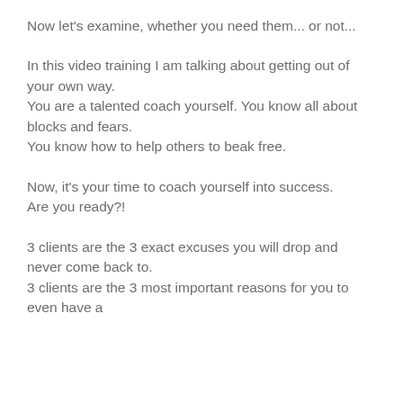Now let's examine, whether you need them... or not...
In this video training I am talking about getting out of your own way.
You are a talented coach yourself. You know all about blocks and fears.
You know how to help others to beak free.
Now, it's your time to coach yourself into success.
Are you ready?!
3 clients are the 3 exact excuses you will drop and never come back to.
3 clients are the 3 most important reasons for you to even have a